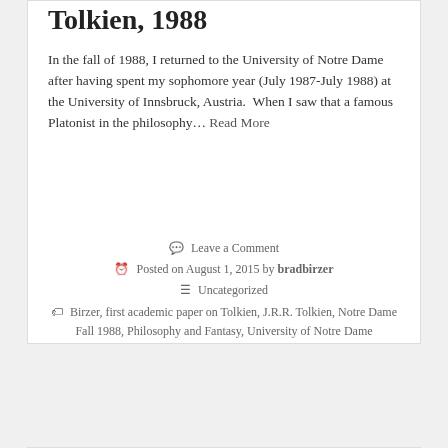Tolkien, 1988
In the fall of 1988, I returned to the University of Notre Dame after having spent my sophomore year (July 1987-July 1988) at the University of Innsbruck, Austria.  When I saw that a famous Platonist in the philosophy… Read More
Leave a Comment
Posted on August 1, 2015 by bradbirzer
Uncategorized
Birzer, first academic paper on Tolkien, J.R.R. Tolkien, Notre Dame Fall 1988, Philosophy and Fantasy, University of Notre Dame